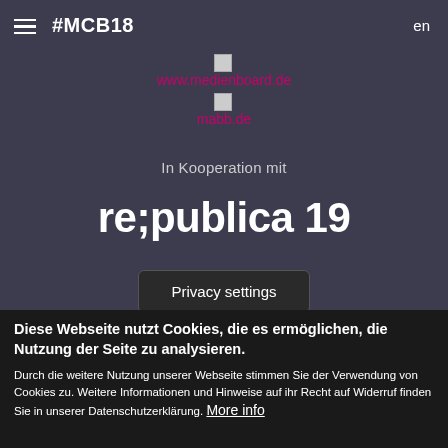#MCB18   en
[Figure (logo): www.medienboard.de logo placeholder with pink link text]
[Figure (logo): mabb.de logo placeholder with pink link text]
In Kooperation mit
re;publica 19
Privacy settings
Diese Webseite nutzt Cookies, die es ermöglichen, die Nutzung der Seite zu analysieren.
Durch die weitere Nutzung unserer Webseite stimmen Sie der Verwendung von Cookies zu. Weitere Informationen und Hinweise auf ihr Recht auf Widerruf finden Sie in unserer Datenschutzerklärung. More info